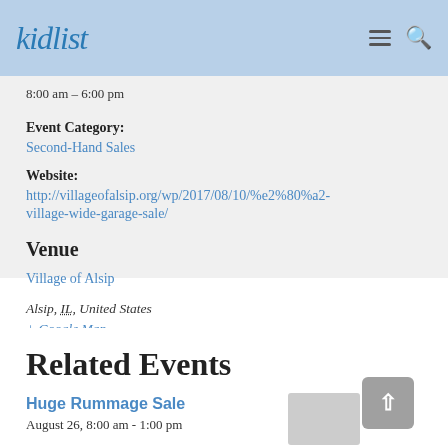kidlist
8:00 am - 6:00 pm
Event Category: Second-Hand Sales
Website: http://villageofalsip.org/wp/2017/08/10/%e2%80%a2-village-wide-garage-sale/
Venue
Village of Alsip
Alsip, IL, United States
+ Google Map
Related Events
Huge Rummage Sale
August 26, 8:00 am - 1:00 pm